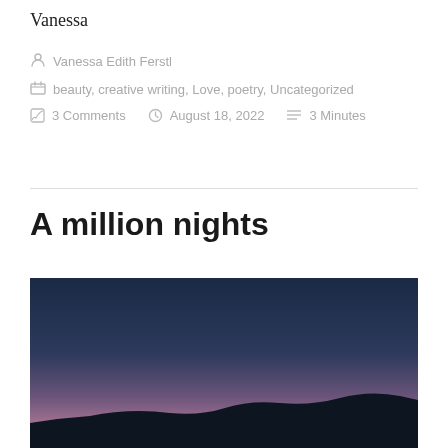Vanessa
Vanessa Edith Ferstl
beauty, creative writing, Love, poetry, Uncategorized
3 Comments   August 18, 2022   3 Minutes
A million nights
[Figure (photo): Night sky photo showing a dark twilight sky transitioning from deep navy blue at the top to a mauve/pinkish hue near the horizon, with a dark silhouetted hillside at the bottom.]